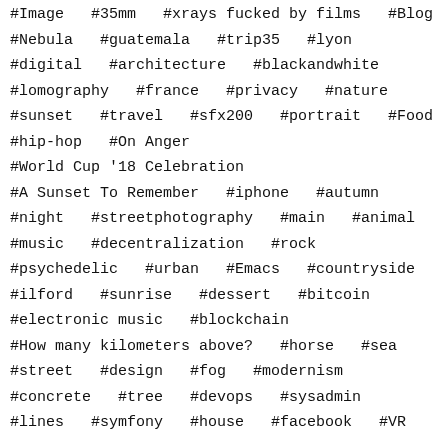#Image   #35mm   #xrays fucked by films   #Blog
#Nebula   #guatemala   #trip35   #lyon
#digital   #architecture   #blackandwhite
#lomography   #france   #privacy   #nature
#sunset   #travel   #sfx200   #portrait   #Food
#hip-hop   #On Anger
#World Cup '18 Celebration
#A Sunset To Remember   #iphone   #autumn
#night   #streetphotography   #main   #animal
#music   #decentralization   #rock
#psychedelic   #urban   #Emacs   #countryside
#ilford   #sunrise   #dessert   #bitcoin
#electronic music   #blockchain
#How many kilometers above?   #horse   #sea
#street   #design   #fog   #modernism
#concrete   #tree   #devops   #sysadmin
#lines   #symfony   #house   #facebook   #VR